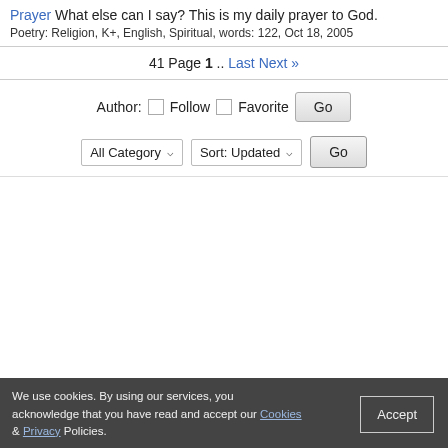Prayer What else can I say? This is my daily prayer to God.
Poetry: Religion, K+, English, Spiritual, words: 122, Oct 18, 2005
41 Page 1 .. Last Next »
Author: Follow Favorite Go
All Category ∨ Sort: Updated ∨ Go
We use cookies. By using our services, you acknowledge that you have read and accept our Cookies & Privacy Policies. Accept